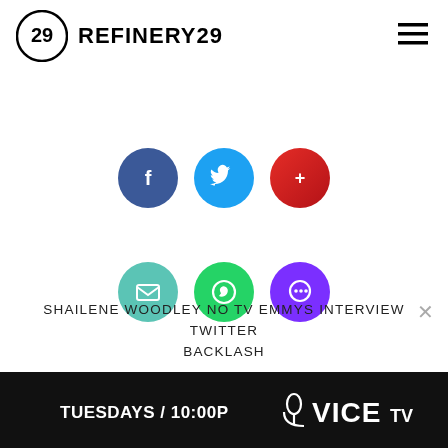REFINERY29
[Figure (illustration): Six social media sharing icons arranged in two rows: top row has Facebook (blue), Twitter (light blue), and a red icon; bottom row has email/envelope (teal), WhatsApp (green), and a purple chat icon.]
SHAILENE WOODLEY NO TV EMMYS INTERVIEW TWITTER BACKLASH
TV SHOWS • ENTERTAINMENT • NEWS •
POP CULTURE • SHAILENE WOODLEY
WRITTEN BY MORGAN BAILA
PHOTO: ROB LATOUR/VARIETY/REX/SHUTTERSTOCK.
[Figure (illustration): Advertisement banner: black background with white text reading 'TUESDAYS / 10:00P' followed by a microphone icon and VICE TV logo in white.]